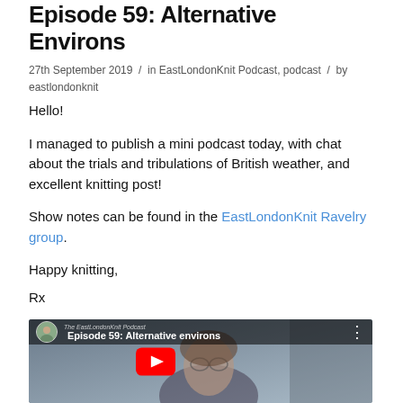Episode 59: Alternative Environs
27th September 2019 / in EastLondonKnit Podcast, podcast / by eastlondonknit
Hello!
I managed to publish a mini podcast today, with chat about the trials and tribulations of British weather, and excellent knitting post!
Show notes can be found in the EastLondonKnit Ravelry group.
Happy knitting,
Rx
[Figure (screenshot): YouTube video thumbnail for Episode 59: Alternative environs by The EastLondonKnit Podcast, showing a woman with glasses and curly hair, with a red YouTube play button overlay and the episode title text.]